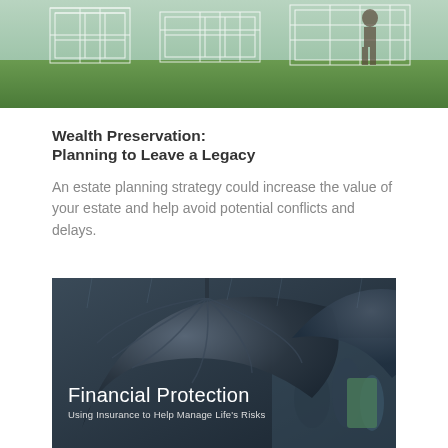[Figure (photo): Outdoor photo showing a person walking past large white wire-frame structure installations on grass]
Wealth Preservation:
Planning to Leave a Legacy
An estate planning strategy could increase the value of your estate and help avoid potential conflicts and delays.
[Figure (photo): Close-up photo of dark umbrellas in the rain with people in background, overlaid with text 'Financial Protection: Using Insurance to Help Manage Life's Risks']